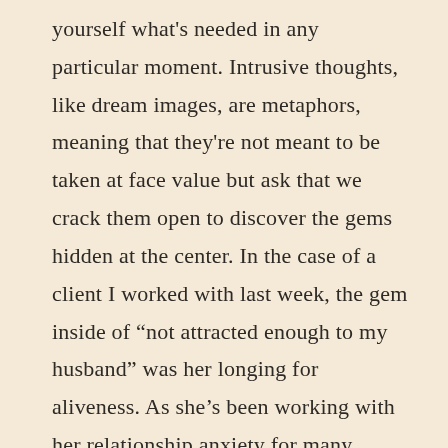yourself what's needed in any particular moment. Intrusive thoughts, like dream images, are metaphors, meaning that they're not meant to be taken at face value but ask that we crack them open to discover the gems hidden at the center. In the case of a client I worked with last week, the gem inside of “not attracted enough to my husband” was her longing for aliveness. As she’s been working with her relationship anxiety for many years, she was able to resist becoming deeply hooked by the thoughts, and as we worked during the session she arrived into the core: